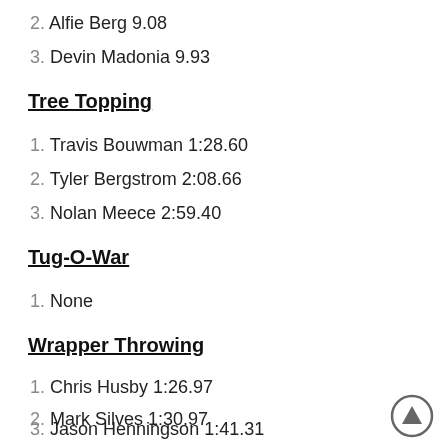2. Alfie Berg 9.08
3. Devin Madonia 9.93
Tree Topping
1. Travis Bouwman 1:28.60
2. Tyler Bergstrom 2:08.66
3. Nolan Meece 2:59.40
Tug-O-War
1. None
Wrapper Throwing
1. Chris Husby 1:26.97
2. Mark Silves 1:30.97
3. Jason Henningson 1:41.31